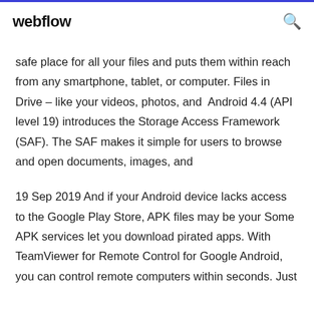webflow
safe place for all your files and puts them within reach from any smartphone, tablet, or computer. Files in Drive – like your videos, photos, and Android 4.4 (API level 19) introduces the Storage Access Framework (SAF). The SAF makes it simple for users to browse and open documents, images, and
19 Sep 2019 And if your Android device lacks access to the Google Play Store, APK files may be your Some APK services let you download pirated apps. With TeamViewer for Remote Control for Google Android, you can control remote computers within seconds. Just